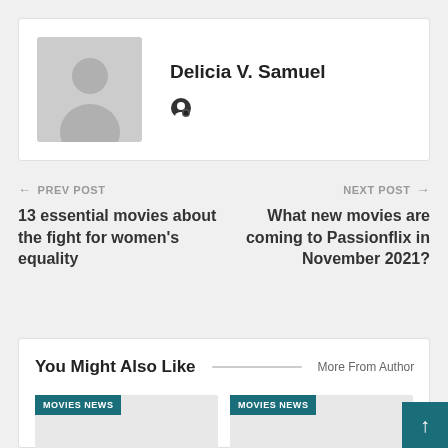Delicia V. Samuel
PREV POST
NEXT POST
13 essential movies about the fight for women's equality
What new movies are coming to Passionflix in November 2021?
You Might Also Like
More From Author
MOVIES NEWS
MOVIES NEWS